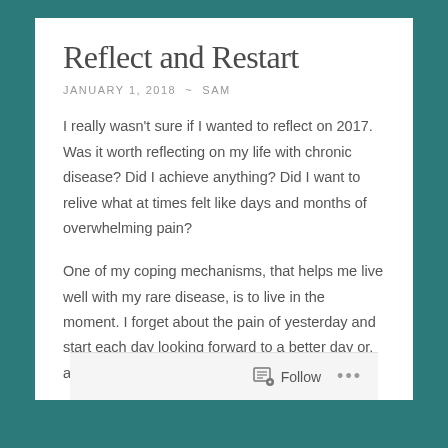Reflect and Restart
JANUARY 1, 2018  ~  SAM
I really wasn't sure if I wanted to reflect on 2017. Was it worth reflecting on my life with chronic disease? Did I achieve anything? Did I want to relive what at times felt like days and months of overwhelming pain?
One of my coping mechanisms, that helps me live well with my rare disease, is to live in the moment. I forget about the pain of yesterday and start each day looking forward to a better day or, at the very
Follow ...